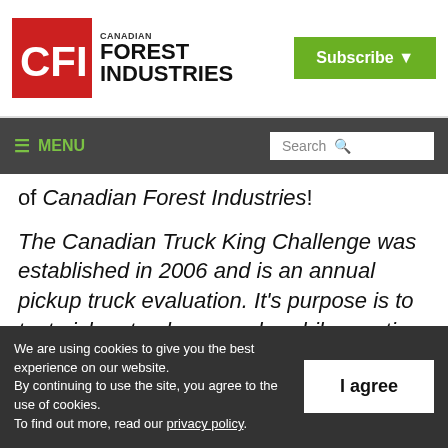[Figure (logo): Canadian Forest Industries logo with red CFI box and bold text]
Subscribe ▾
≡ MENU  Search 🔍
of Canadian Forest Industries!
The Canadian Truck King Challenge was established in 2006 and is an annual pickup truck evaluation. It's purpose is to test pickup trucks properly; while creating unbiased data and stories that will benefit the Canadian truck
We are using cookies to give you the best experience on our website. By continuing to use the site, you agree to the use of cookies. To find out more, read our privacy policy.